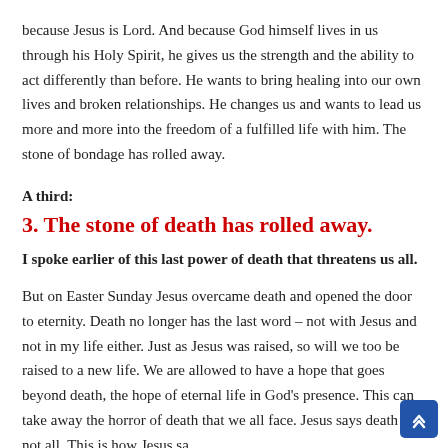because Jesus is Lord. And because God himself lives in us through his Holy Spirit, he gives us the strength and the ability to act differently than before. He wants to bring healing into our own lives and broken relationships. He changes us and wants to lead us more and more into the freedom of a fulfilled life with him. The stone of bondage has rolled away.
A third:
3. The stone of death has rolled away.
I spoke earlier of this last power of death that threatens us all.
But on Easter Sunday Jesus overcame death and opened the door to eternity. Death no longer has the last word – not with Jesus and not in my life either. Just as Jesus was raised, so will we too be raised to a new life. We are allowed to have a hope that goes beyond death, the hope of eternal life in God's presence. This can take away the horror of death that we all face. Jesus says death is not all. This is how Jesus sa